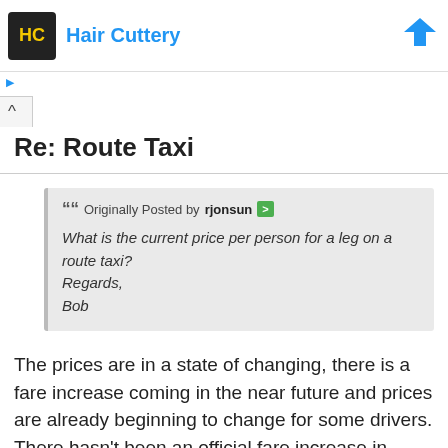[Figure (logo): Hair Cuttery advertisement banner with logo and blue arrow]
Re: Route Taxi
Originally Posted by rjonsun
What is the current price per person for a leg on a route taxi?
Regards,
Bob
The prices are in a state of changing, there is a fare increase coming in the near future and prices are already beginning to change for some drivers. There hasn't been an official fare increase in years, so we are overdue for one.
But unless you are coming for an extended stay, done your quarantine and don't plan to